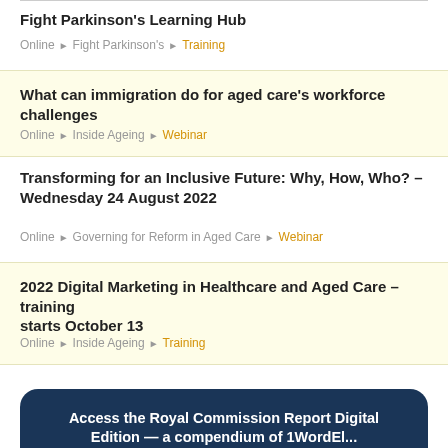Fight Parkinson's Learning Hub
Online ▶ Fight Parkinson's ▶ Training
What can immigration do for aged care's workforce challenges
Online ▶ Inside Ageing ▶ Webinar
Transforming for an Inclusive Future: Why, How, Who? – Wednesday 24 August 2022
Online ▶ Governing for Reform in Aged Care ▶ Webinar
2022 Digital Marketing in Healthcare and Aged Care – training starts October 13
Online ▶ Inside Ageing ▶ Training
Access the Royal Commission Report Digital Edition — a compendium of 1WordEl...